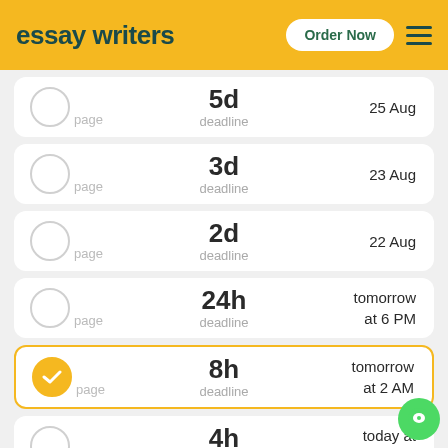essay writers | Order Now
5d deadline — 25 Aug
3d deadline — 23 Aug
2d deadline — 22 Aug
24h deadline — tomorrow at 6 PM
8h deadline — tomorrow at 2 AM (selected)
4h deadline — today at 10 PM